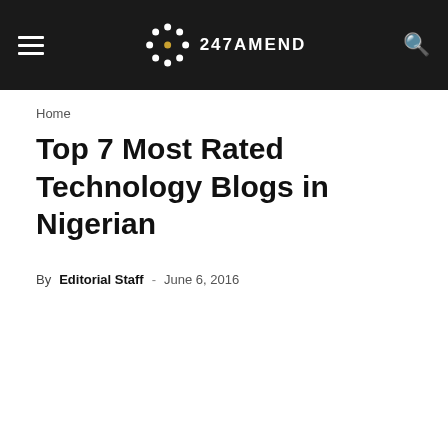247AMEND
Home
Top 7 Most Rated Technology Blogs in Nigerian
By Editorial Staff - June 6, 2016